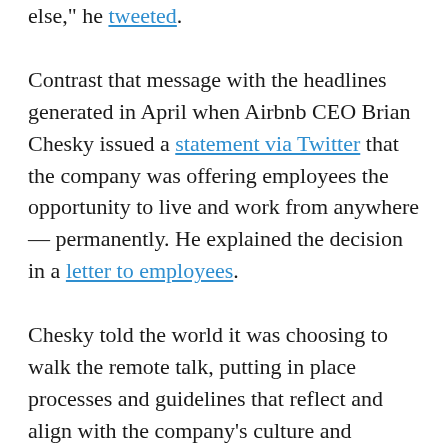else," he tweeted.
Contrast that message with the headlines generated in April when Airbnb CEO Brian Chesky issued a statement via Twitter that the company was offering employees the opportunity to live and work from anywhere — permanently. He explained the decision in a letter to employees.
Chesky told the world it was choosing to walk the remote talk, putting in place processes and guidelines that reflect and align with the company's culture and mission. By opening the door to remote work on a global scale, the company let employees know they could fully embrace the travel culture they are asked to promote. Of course, the decision